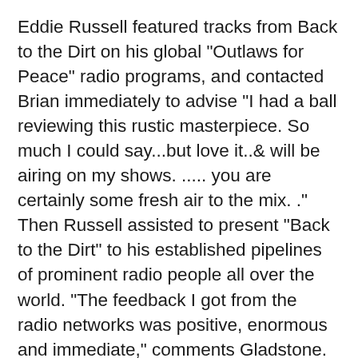Eddie Russell featured tracks from Back to the Dirt on his global "Outlaws for Peace" radio programs, and contacted Brian immediately to advise "I had a ball reviewing this rustic masterpiece. So much I could say...but love it..& will be airing on my shows. ..... you are certainly some fresh air to the mix. ." Then Russell assisted to present "Back to the Dirt" to his established pipelines of prominent radio people all over the world. "The feedback I got from the radio networks was positive, enormous and immediate," comments Gladstone. "I got emails, phone calls, even hand written letters from the radio community. It was apparent the response was overwhelming, and needed the focus and expertise of a dedicated label. When Frank Fara contacted me, I was thrilled, and knew it was as a result of seeing my name on playlists all over the world. It was obvious he had taken time to listen and learn the CD, was able to discuss the tunes and sales aspects in good detail